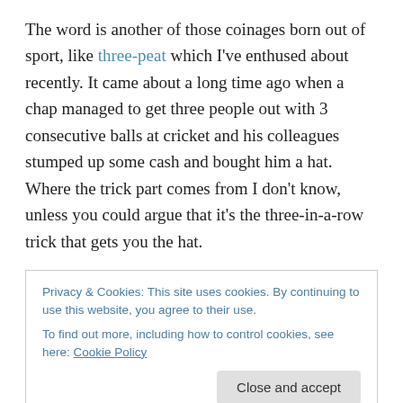The word is another of those coinages born out of sport, like three-peat which I've enthused about recently. It came about a long time ago when a chap managed to get three people out with 3 consecutive balls at cricket and his colleagues stumped up some cash and bought him a hat. Where the trick part comes from I don't know, unless you could argue that it's the three-in-a-row trick that gets you the hat.
Hat-trick doesn't work as well as three-peat for my money, and it's also evolved in meaning too, since you can score
Privacy & Cookies: This site uses cookies. By continuing to use this website, you agree to their use. To find out more, including how to control cookies, see here: Cookie Policy
I wonder why getting four wickets in a row hasn't become